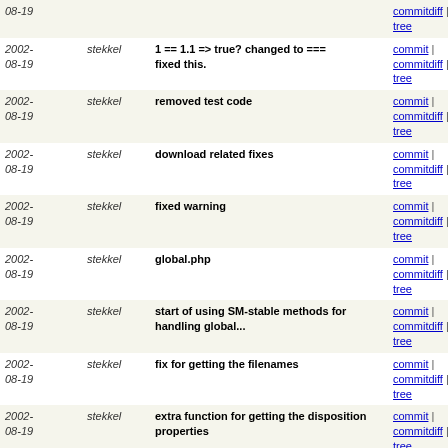| Date | Author | Message | Links |
| --- | --- | --- | --- |
| 2002-08-19 | stekkel | commitdiff | tree | commit | commitdiff | tree |
| 2002-08-19 | stekkel | 1 == 1.1 => true? changed to === fixed this. | commit | commitdiff | tree |
| 2002-08-19 | stekkel | removed test code | commit | commitdiff | tree |
| 2002-08-19 | stekkel | download related fixes | commit | commitdiff | tree |
| 2002-08-19 | stekkel | fixed warning | commit | commitdiff | tree |
| 2002-08-19 | stekkel | global.php | commit | commitdiff | tree |
| 2002-08-19 | stekkel | start of using SM-stable methods for handling global... | commit | commitdiff | tree |
| 2002-08-19 | stekkel | fix for getting the filenames | commit | commitdiff | tree |
| 2002-08-19 | stekkel | extra function for getting the disposition properties | commit | commitdiff | tree |
| 2002-08-19 | stekkel | fix for getting filenames for attachments | commit | commitdiff | tree |
| 2002-08-19 | stekkel | missed a ) | commit | commitdiff | tree |
| 2002-08-19 | stekkel | adapted version to 1.3.1 [CVS-DEVEL] instead of 1.3... | commit | commitdiff | tree |
| 2002-08-19 | stekkel | preg_match should look at field instead of value | commit | commitdiff | tree |
| 2002-08-19 | stekkel | fix for bug #596930 | commit | commitdiff | tree |